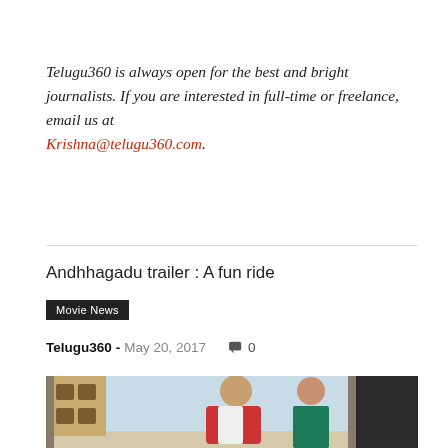Telugu360 is always open for the best and bright journalists. If you are interested in full-time or freelance, email us at Krishna@telugu360.com.
Andhhagadu trailer : A fun ride
Movie News
Telugu360 - May 20, 2017   0
[Figure (photo): Movie promotional image showing a young man in sunglasses with a red plaid shirt and a woman in a teal dress, standing together against a light blue background.]